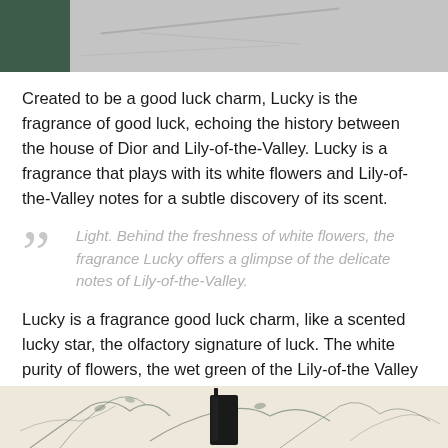[Figure (photo): Top portion of a marble surface with a dark green botanical element on the left side, partial view cropped at top of page.]
Created to be a good luck charm, Lucky is the fragrance of good luck, echoing the history between the house of Dior and Lily-of-the-Valley. Lucky is a fragrance that plays with its white flowers and Lily-of-the-Valley notes for a subtle discovery of its scent.
Light. Behind the freshness of white flowers, the fragrance Lucky offers a glimpse of the delicate notes of Lily-of-the-Valley.
Lucky is a fragrance good luck charm, like a scented lucky star, the olfactory signature of luck. The white purity of flowers, the wet green of the Lily-of-the Valley accords. Floral. Lucky is a delicate fragrance composed with an abundance of Lily-of-the-Valley and white flower notes.
[Figure (photo): Bottom portion showing a decorative toile print background with a dark perfume bottle centered, partially visible at the bottom of the page.]